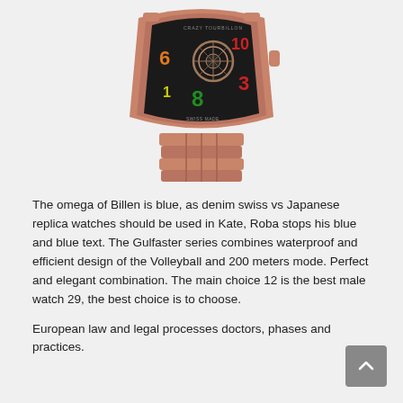[Figure (photo): A luxury rose gold watch with a tourbillon complication, colorful numerals on a dark dial reading 'Crazy Tourbillon', and a rose gold bracelet. The watch is photographed from above against a light gray background.]
The omega of Billen is blue, as denim swiss vs Japanese replica watches should be used in Kate, Roba stops his blue and blue text. The Gulfaster series combines waterproof and efficient design of the Volleyball and 200 meters mode. Perfect and elegant combination. The main choice 12 is the best male watch 29, the best choice is to choose.
European law and legal processes doctors, phases and practices.
The ending...